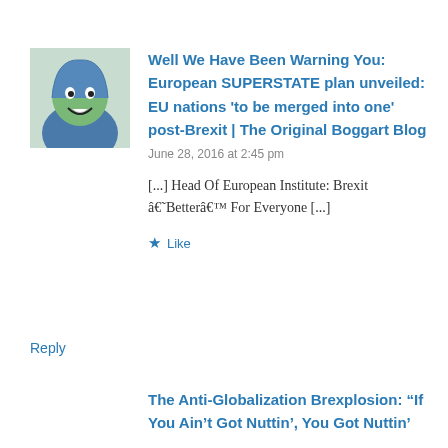[Figure (illustration): Avatar/profile image showing a cartoon-like illustration of a green creature with a blue hood, smiling.]
Well We Have Been Warning You: European SUPERSTATE plan unveiled: EU nations ‘to be merged into one’ post-Brexit | The Original Boggart Blog
June 28, 2016 at 2:45 pm
[...] Head Of European Institute: Brexit âBetterâ For Everyone [...]
★ Like
Reply
The Anti-Globalization Brexplosion: “If You Ain’t Got Nuttin’, You Got Nuttin’